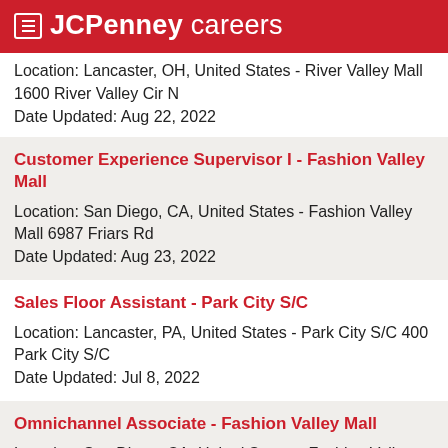JCPenney careers
Location: Lancaster, OH, United States - River Valley Mall 1600 River Valley Cir N
Date Updated: Aug 22, 2022
Customer Experience Supervisor I - Fashion Valley Mall
Location: San Diego, CA, United States - Fashion Valley Mall 6987 Friars Rd
Date Updated: Aug 23, 2022
Sales Floor Assistant - Park City S/C
Location: Lancaster, PA, United States - Park City S/C 400 Park City S/C
Date Updated: Jul 8, 2022
Omnichannel Associate - Fashion Valley Mall
Location: San Diego, CA, United States - Fashion Valley Mall 6987 Friars Rd
Date Updated: Aug 22, 2022